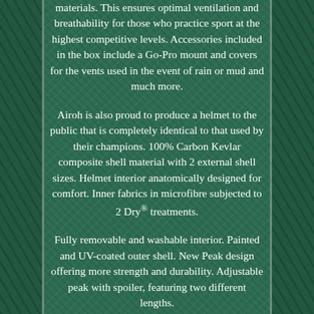materials. This ensures optimal ventilation and breathability for those who practice sport at the highest competitive levels. Accessories included in the box include a Go-Pro mount and covers for the vents used in the event of rain or mud and much more.
Airoh is also proud to produce a helmet to the public that is completely identical to that used by their champions. 100% Carbon Kevlar composite shell material with 2 external shell sizes. Helmet interior anatomically designed for comfort. Inner fabrics in microfibre subjected to 2 Dry® treatments.
Fully removable and washable interior. Painted and UV-coated outer shell. New Peak design offering more strength and durability. Adjustable peak with spoiler, featuring two different lengths.
Aluminum double D-ring retention system. Weight: (XS/S/M) 950±50 grams, (L/XL) 1150±50 grams. Included Accessories In The Box. Smoked